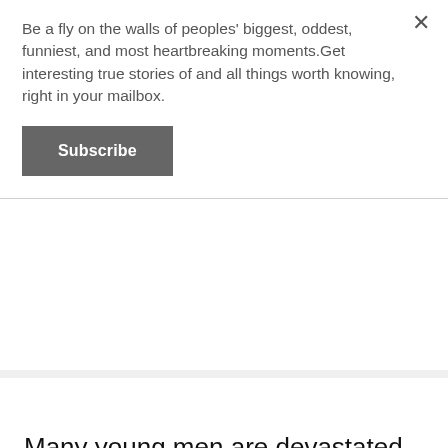Be a fly on the walls of peoples' biggest, oddest, funniest, and most heartbreaking moments.Get interesting true stories of and all things worth knowing, right in your mailbox.
Subscribe
Many young men are devastated when they start to lose their hair. Enjoy it and appreciate it while you have it.